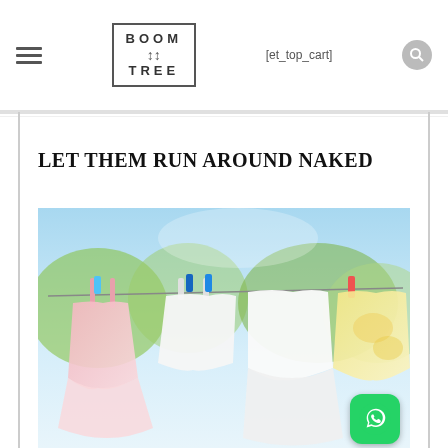BOOM TREE [et_top_cart]
LET THEM RUN AROUND NAKED
[Figure (photo): Children's clothes — pink dress, white top, white dress, yellow outfit — hanging on a clothesline outdoors with colorful clothespins against a bright sky and green trees background.]